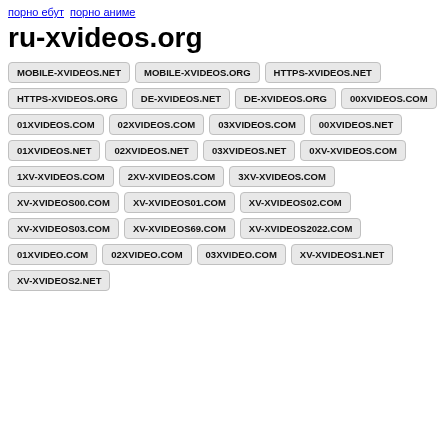порно ебут  порно аниме
ru-xvideos.org
MOBILE-XVIDEOS.NET
MOBILE-XVIDEOS.ORG
HTTPS-XVIDEOS.NET
HTTPS-XVIDEOS.ORG
DE-XVIDEOS.NET
DE-XVIDEOS.ORG
00XVIDEOS.COM
01XVIDEOS.COM
02XVIDEOS.COM
03XVIDEOS.COM
00XVIDEOS.NET
01XVIDEOS.NET
02XVIDEOS.NET
03XVIDEOS.NET
0XV-XVIDEOS.COM
1XV-XVIDEOS.COM
2XV-XVIDEOS.COM
3XV-XVIDEOS.COM
XV-XVIDEOS00.COM
XV-XVIDEOS01.COM
XV-XVIDEOS02.COM
XV-XVIDEOS03.COM
XV-XVIDEOS69.COM
XV-XVIDEOS2022.COM
01XVIDEO.COM
02XVIDEO.COM
03XVIDEO.COM
XV-XVIDEOS1.NET
XV-XVIDEOS2.NET